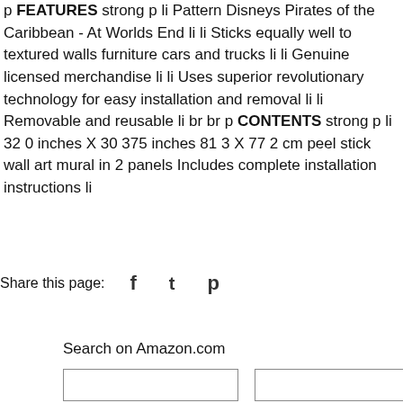p strong FEATURES strong p li Pattern Disneys Pirates of the Caribbean - At Worlds End li li Sticks equally well to textured walls furniture cars and trucks li li Genuine licensed merchandise li li Uses superior revolutionary technology for easy installation and removal li li Removable and reusable li br br p strong CONTENTS strong p li 32 0 inches X 30 375 inches 81 3 X 77 2 cm peel stick wall art mural in 2 panels Includes complete installation instructions li
Share this page: [Facebook icon] [Twitter icon] [Pinterest icon]
Search on Amazon.com